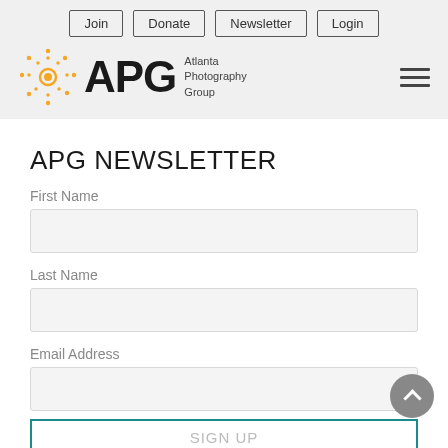Join | Donate | Newsletter | Login
[Figure (logo): APG - Atlanta Photography Group logo with sun/dots icon]
APG NEWSLETTER
First Name
Last Name
Email Address
SIGN UP